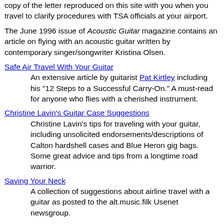copy of the letter reproduced on this site with you when you travel to clarify procedures with TSA officials at your airport.
The June 1996 issue of Acoustic Guitar magazine contains an article on flying with an acoustic guitar written by contemporary singer/songwriter Kristina Olsen.
Safe Air Travel With Your Guitar
An extensive article by guitarist Pat Kirtley including his "12 Steps to a Successful Carry-On." A must-read for anyone who flies with a cherished instrument.
Christine Lavin's Guitar Case Suggestions
Christine Lavin's tips for traveling with your guitar, including unsolicited endorsements/descriptions of Calton hardshell cases and Blue Heron gig bags. Some great advice and tips from a longtime road warrior.
Saving Your Neck
A collection of suggestions about airline travel with a guitar as posted to the alt.music.filk Usenet newsgroup.
Here is a collection of some 1996 posts from RMMGA and the folkmusic.org listserv on flying with guitars.
Here are collections of RMMGA posts since 1996 on flying with